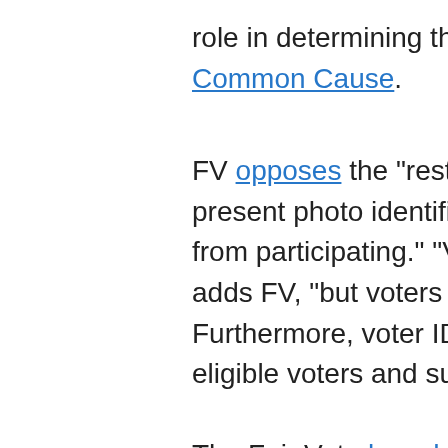role in determining the winner. Common Cause.
FV opposes the "restrictive and present photo identification at from participating." "Voter ID la adds FV, "but voters should alw Furthermore, voter ID laws sho eligible voters and supply them
The Fair Vote board of directors
John Anderson, who ran as a